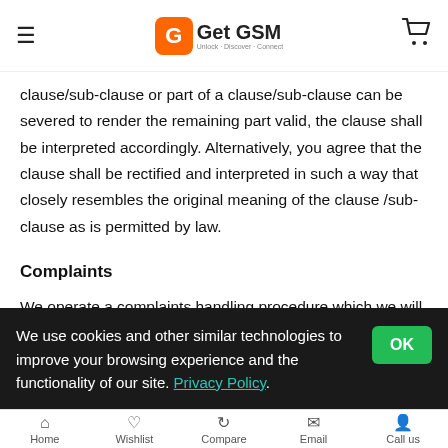Get GSM
clause/sub-clause or part of a clause/sub-clause can be severed to render the remaining part valid, the clause shall be interpreted accordingly. Alternatively, you agree that the clause shall be rectified and interpreted in such a way that closely resembles the original meaning of the clause /sub-clause as is permitted by law.
Complaints
We operate a complaints handling procedure which we will use to try to resolve disputes when they first arise, please let us know if you have any complaints or comments.
We use cookies and other similar technologies to improve your browsing experience and the functionality of our site. Privacy Policy.
Home   Wishlist   Compare   Email   Call us